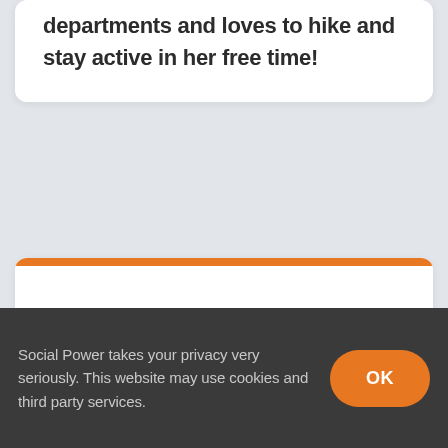departments and loves to hike and stay active in her free time!
SCOTT
Swiss Army Knife
Social Power takes your privacy very seriously. This website may use cookies and third party services.